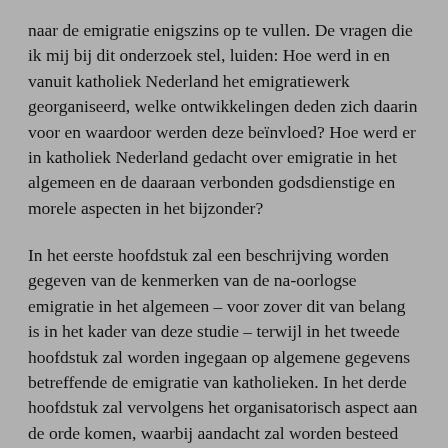naar de emigratie enigszins op te vullen. De vragen die ik mij bij dit onderzoek stel, luiden: Hoe werd in en vanuit katholiek Nederland het emigratiewerk georganiseerd, welke ontwikkelingen deden zich daarin voor en waardoor werden deze beïnvloed? Hoe werd er in katholiek Nederland gedacht over emigratie in het algemeen en de daaraan verbonden godsdienstige en morele aspecten in het bijzonder?
In het eerste hoofdstuk zal een beschrijving worden gegeven van de kenmerken van de na-oorlogse emigratie in het algemeen – voor zover dit van belang is in het kader van deze studie – terwijl in het tweede hoofdstuk zal worden ingegaan op algemene gegevens betreffende de emigratie van katholieken. In het derde hoofdstuk zal vervolgens het organisatorisch aspect aan de orde komen, waarbij aandacht zal worden besteed aan respectievelijk de RK